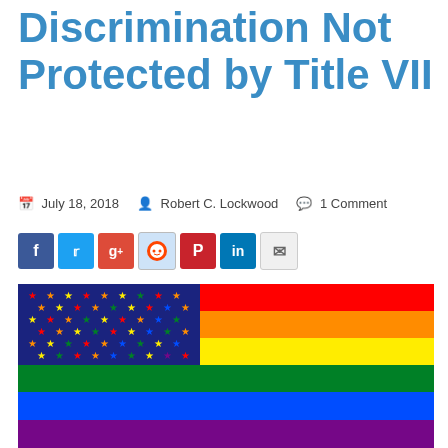Homosexual Discrimination Not Protected by Title VII
July 18, 2018   Robert C. Lockwood   1 Comment
[Figure (illustration): Rainbow pride flag styled as an American flag with colorful stars on a dark blue canton and rainbow horizontal stripes (red, orange, yellow, green, blue, violet) filling the rest of the flag.]